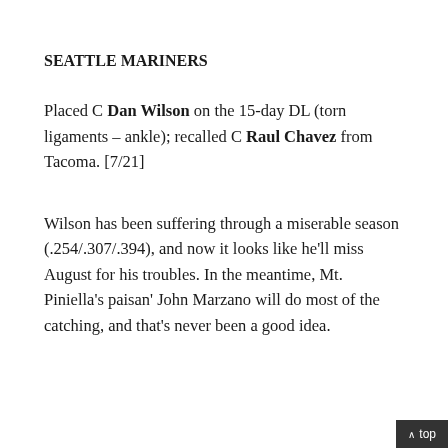SEATTLE MARINERS
Placed C Dan Wilson on the 15-day DL (torn ligaments – ankle); recalled C Raul Chavez from Tacoma. [7/21]
Wilson has been suffering through a miserable season (.254/.307/.394), and now it looks like he'll miss August for his troubles. In the meantime, Mt. Piniella's paisan' John Marzano will do most of the catching, and that's never been a good idea.